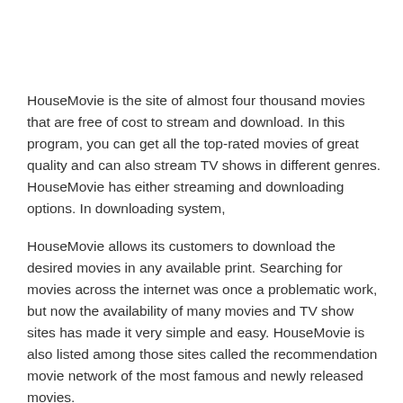HouseMovie is the site of almost four thousand movies that are free of cost to stream and download. In this program, you can get all the top-rated movies of great quality and can also stream TV shows in different genres. HouseMovie has either streaming and downloading options. In downloading system,
HouseMovie allows its customers to download the desired movies in any available print. Searching for movies across the internet was once a problematic work, but now the availability of many movies and TV show sites has made it very simple and easy. HouseMovie is also listed among those sites called the recommendation movie network of the most famous and newly released movies.